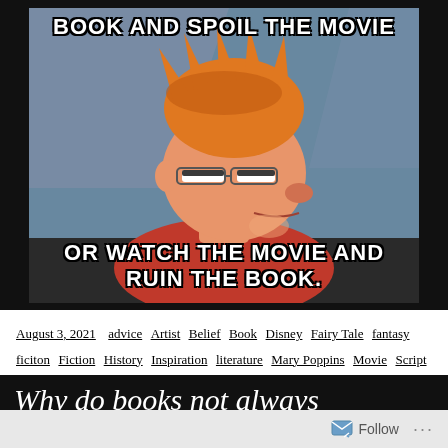[Figure (illustration): Internet meme featuring Futurama's Fry character squinting suspiciously, with top text 'BOOK AND SPOIL THE MOVIE' and bottom text 'OR WATCH THE MOVIE AND RUIN THE BOOK.']
August 3, 2021  advice  Artist  Belief  Book  Disney  Fairy Tale  fantasy  ficiton  Fiction  History  Inspiration  literature  Mary Poppins  Movie  Script  The NeverEnding Story  Walt Disney
Why do books not always translate well to movies?
Follow  ···